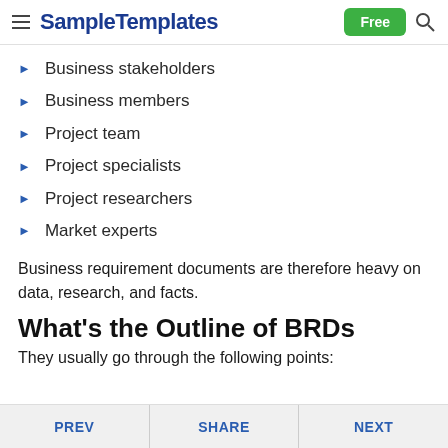SampleTemplates | Free
Business stakeholders
Business members
Project team
Project specialists
Project researchers
Market experts
Business requirement documents are therefore heavy on data, research, and facts.
What's the Outline of BRDs
They usually go through the following points:
PREV | SHARE | NEXT